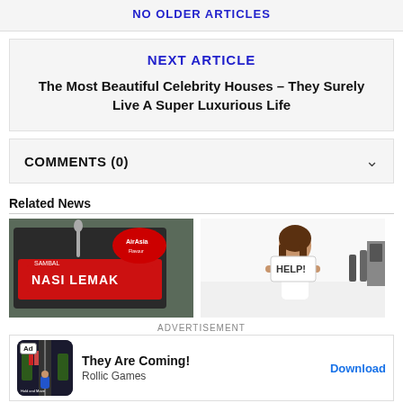NO OLDER ARTICLES
NEXT ARTICLE
The Most Beautiful Celebrity Houses – They Surely Live A Super Luxurious Life
COMMENTS (0)
Related News
[Figure (photo): Photo of Nasi Lemak packaged food product with AirAsia branding]
[Figure (photo): Woman in kitchen holding a HELP! sign]
ADVERTISEMENT
They Are Coming! Rollic Games Download